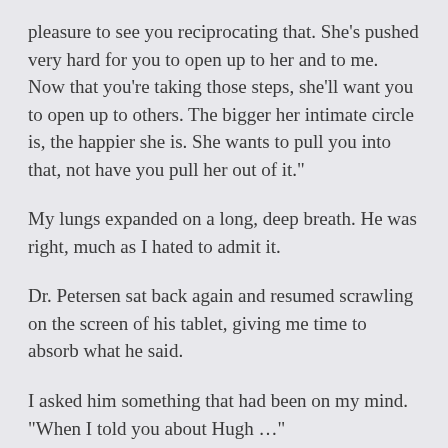pleasure to see you reciprocating that. She’s pushed very hard for you to open up to her and to me. Now that you’re taking those steps, she’ll want you to open up to others. The bigger her intimate circle is, the happier she is. She wants to pull you into that, not have you pull her out of it.”
My lungs expanded on a long, deep breath. He was right, much as I hated to admit it.
Dr. Petersen sat back again and resumed scrawling on the screen of his tablet, giving me time to absorb what he said.
I asked him something that had been on my mind. “When I told you about Hugh …”